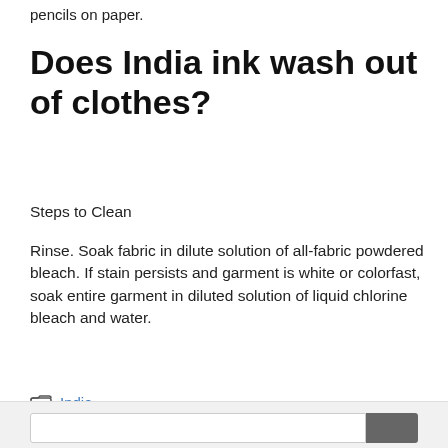pencils on paper.
Does India ink wash out of clothes?
Steps to Clean
Rinse. Soak fabric in dilute solution of all-fabric powdered bleach. If stain persists and garment is white or colorfast, soak entire garment in diluted solution of liquid chlorine bleach and water.
India